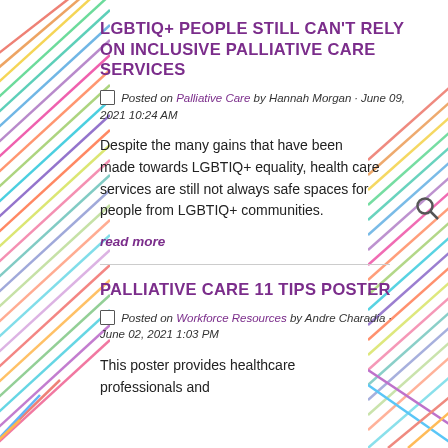LGBTIQ+ PEOPLE STILL CAN'T RELY ON INCLUSIVE PALLIATIVE CARE SERVICES
Posted on Palliative Care by Hannah Morgan · June 09, 2021 10:24 AM
Despite the many gains that have been made towards LGBTIQ+ equality, health care services are still not always safe spaces for people from LGBTIQ+ communities.
read more
PALLIATIVE CARE 11 TIPS POSTER
Posted on Workforce Resources by Andre Charadia · June 02, 2021 1:03 PM
This poster provides healthcare professionals and